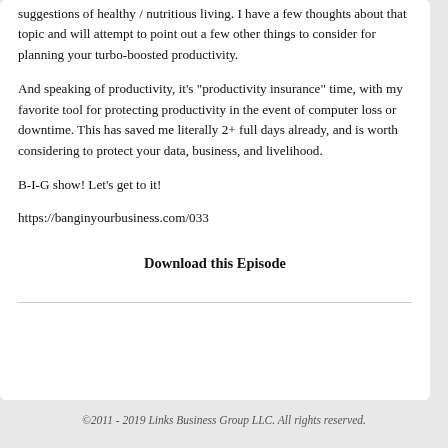suggestions of healthy / nutritious living. I have a few thoughts about that topic and will attempt to point out a few other things to consider for planning your turbo-boosted productivity.
And speaking of productivity, it's "productivity insurance" time, with my favorite tool for protecting productivity in the event of computer loss or downtime. This has saved me literally 2+ full days already, and is worth considering to protect your data, business, and livelihood.
B-I-G show! Let's get to it!
https://banginyourbusiness.com/033
Download this Episode
©2011 - 2019 Links Business Group LLC. All rights reserved.